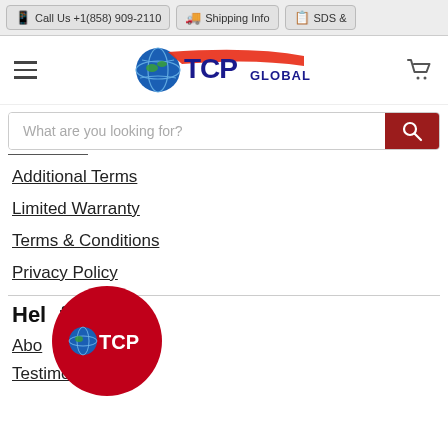📱 Call Us +1(858) 909-2110   🚚 Shipping Info   📋 SDS &
[Figure (logo): TCP Global logo with globe icon and red swoosh, hamburger menu icon on left, shopping cart icon on right]
What are you looking for?
Additional Terms
Limited Warranty
Terms & Conditions
Privacy Policy
Helpful Links
About
Testimonials
[Figure (logo): TCP circular red logo overlay in bottom left area]